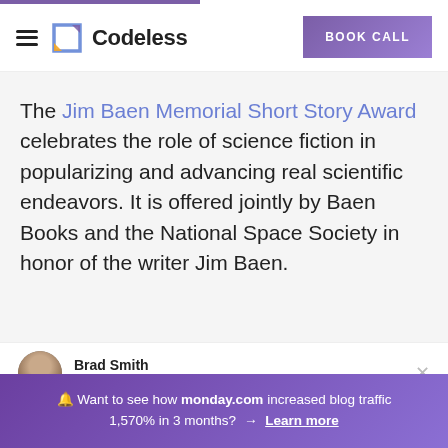Codeless | BOOK CALL
The Jim Baen Memorial Short Story Award celebrates the role of science fiction in popularizing and advancing real scientific endeavors. It is offered jointly by Baen Books and the National Space Society in honor of the writer Jim Baen.
Brad Smith
Founder & CEO
🔔 Want to see how monday.com increased blog traffic 1,570% in 3 months? → Learn more